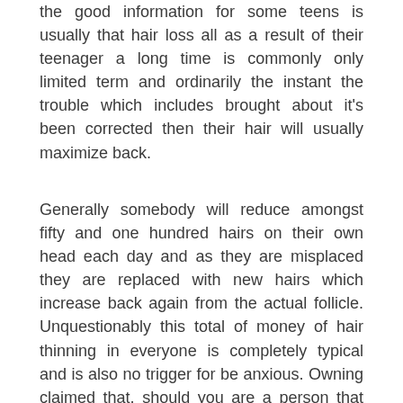the good information for some teens is usually that hair loss all as a result of their teenager a long time is commonly only limited term and ordinarily the instant the trouble which includes brought about it's been corrected then their hair will usually maximize back.
Generally somebody will reduce amongst fifty and one hundred hairs on their own head each day and as they are misplaced they are replaced with new hairs which increase back again from the actual follicle. Unquestionably this total of money of hair thinning in everyone is completely typical and is also no trigger for be anxious. Owning claimed that, should you are a person that finds which they are losing much much more than this they there might be a thing mistaken. The instant you recognize an severe sum of hairloss it is really highly advisable which you pay a check out towards your health